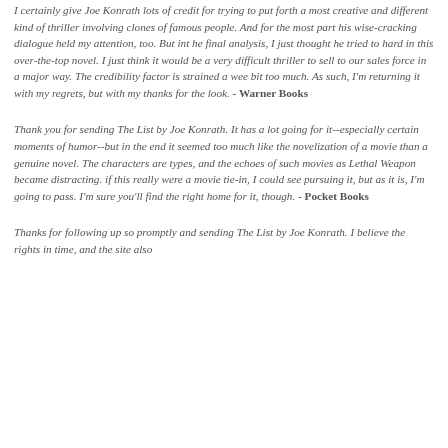I certainly give Joe Konrath lots of credit for trying to put forth a most creative and different kind of thriller involving clones of famous people. And for the most part his wise-cracking dialogue held my attention, too. But int he final analysis, I just thought he tried to hard in this over-the-top novel. I just think it would be a very difficult thriller to sell to our sales force in a major way. The credibility factor is strained a wee bit too much. As such, I'm returning it with my regrets, but with my thanks for the look. - Warner Books
Thank you for sending The List by Joe Konrath. It has a lot going for it--especially certain moments of humor--but in the end it seemed too much like the novelization of a movie than a genuine novel. The characters are types, and the echoes of such movies as Lethal Weapon became distracting. if this really were a movie tie-in, I could see pursuing it, but as it is, I'm going to pass. I'm sure you'll find the right home for it, though. - Pocket Books
Thanks for following up so promptly and sending The List by Joe Konrath. I believe the rights in time, and the site also...